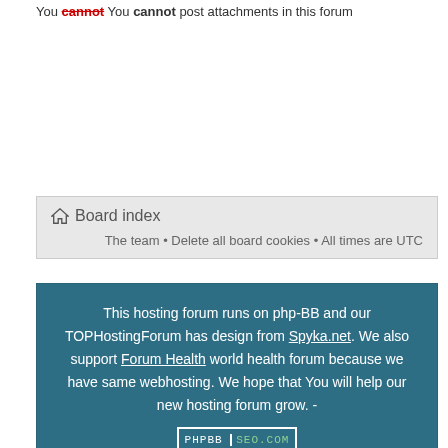You cannot post attachments in this forum
Board index
The team • Delete all board cookies • All times are UTC
This hosting forum runs on php-BB and our TOPHostingForum has design from Spyka.net. We also support Forum Health world health forum because we have same webhosting. We hope that You will help our new hosting forum grow. -
PHPBB SEO.COM